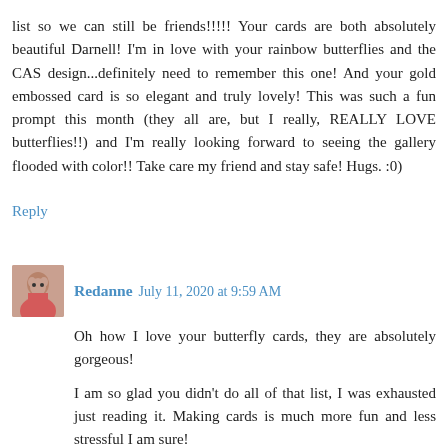list so we can still be friends!!!!! Your cards are both absolutely beautiful Darnell! I'm in love with your rainbow butterflies and the CAS design...definitely need to remember this one! And your gold embossed card is so elegant and truly lovely! This was such a fun prompt this month (they all are, but I really, REALLY LOVE butterflies!!) and I'm really looking forward to seeing the gallery flooded with color!! Take care my friend and stay safe! Hugs. :0)
Reply
Redanne July 11, 2020 at 9:59 AM
Oh how I love your butterfly cards, they are absolutely gorgeous!
I am so glad you didn't do all of that list, I was exhausted just reading it. Making cards is much more fun and less stressful I am sure!
Whoever thought that up about the racoon was a genius, it is so clever! Keep safe and well...